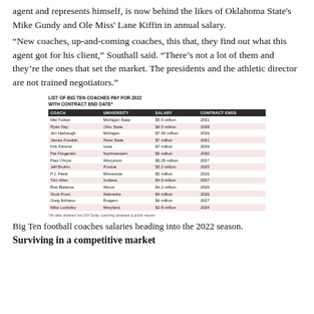agent and represents himself, is now behind the likes of Oklahoma State's Mike Gundy and Ole Miss' Lane Kiffin in annual salary.
“New coaches, up-and-coming coaches, this that, they find out what this agent got for his client,” Southall said. “There’s not a lot of them and they’re the ones that set the market. The presidents and the athletic director are not trained negotiators.”
[Figure (table-as-image): Table listing Big Ten coaches, their university, salary, and contract end date for 2022]
| COACH | UNIVERSITY | SALARY | CONTRACT ENDS |
| --- | --- | --- | --- |
| Mel Tucker | Michigan State | $5.5 million | 2031 |
| Ryan Day | Ohio State | $9.5 million | 2028 |
| Jim Harbaugh | Michigan | $7.05 million | 2026 |
| James Franklin | Penn State | $7 million | 2031 |
| Kirk Ferentz | Iowa | $7 million | 2029 |
| Pat Fitzgerald | Northwestern | $6 million | 2030 |
| Paul Chryst | Wisconsin | $5.25 million | 2027 |
| Jeff Brohm | Purdue | $5.2 million | 2025 |
| P.J. Fleck | Minnesota | $5 million | 2026 |
| Tom Allen | Indiana | $4.9 million | 2027 |
| Bret Bielema | Illinois | $4.2 million | 2026 |
| Scott Frost | Nebraska | $4 million | 2026 |
| Greg Schiano | Rutgers | $4 million | 2027 |
| Mike Locksley | Maryland | $2.8 million | 2024 |
*All data obtained via USA Today coaching database & public reports
Big Ten football coaches salaries heading into the 2022 season.
Surviving in a competitive market